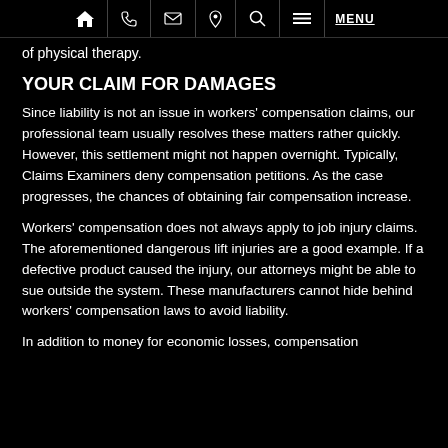Home | Phone | Email | Location | Search | Menu
of physical therapy.
YOUR CLAIM FOR DAMAGES
Since liability is not an issue in workers' compensation claims, our professional team usually resolves these matters rather quickly. However, this settlement might not happen overnight. Typically, Claims Examiners deny compensation petitions. As the case progresses, the chances of obtaining fair compensation increase.
Workers' compensation does not always apply to job injury claims. The aforementioned dangerous lift injuries are a good example. If a defective product caused the injury, our attorneys might be able to sue outside the system. These manufacturers cannot hide behind workers' compensation laws to avoid liability.
In addition to money for economic losses, compensation